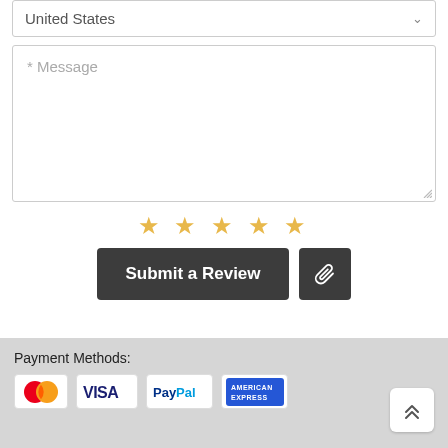United States
* Message
[Figure (other): Five gold star rating icons]
Submit a Review
[Figure (other): Paperclip attachment icon button]
Payment Methods:
[Figure (other): Payment method logos: MasterCard, Visa, PayPal, American Express]
[Figure (other): Scroll to top button with double chevron up arrow]